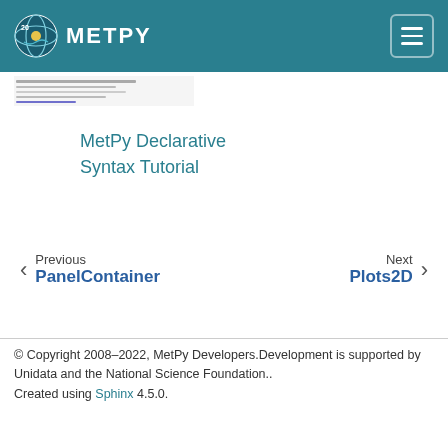MetPy
[Figure (screenshot): Small thumbnail image of a MetPy plot]
MetPy Declarative Syntax Tutorial
Previous PanelContainer
Next Plots2D
© Copyright 2008–2022, MetPy Developers.Development is supported by Unidata and the National Science Foundation.. Created using Sphinx 4.5.0.